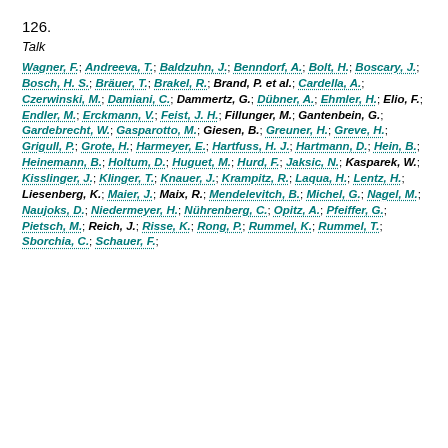126.
Talk
Wagner, F.; Andreeva, T.; Baldzuhn, J.; Benndorf, A.; Bolt, H.; Boscary, J.; Bosch, H. S.; Bräuer, T.; Brakel, R.; Brand, P. et al.; Cardella, A.; Czerwinski, M.; Damiani, C.; Dammertz, G.; Dübner, A.; Ehmler, H.; Elio, F.; Endler, M.; Erckmann, V.; Feist, J. H.; Fillunger, M.; Gantenbein, G.; Gardebrecht, W.; Gasparotto, M.; Giesen, B.; Greuner, H.; Greve, H.; Grigull, P.; Grote, H.; Harmeyer, E.; Hartfuss, H. J.; Hartmann, D.; Hein, B.; Heinemann, B.; Holtum, D.; Huguet, M.; Hurd, F.; Jaksic, N.; Kasparek, W.; Kisslinger, J.; Klinger, T.; Knauer, J.; Krampitz, R.; Laqua, H.; Lentz, H.; Liesenberg, K.; Maier, J.; Maix, R.; Mendelevitch, B.; Michel, G.; Nagel, M.; Naujoks, D.; Niedermeyer, H.; Nührenberg, C.; Opitz, A.; Pfeiffer, G.; Pietsch, M.; Reich, J.; Risse, K.; Rong, P.; Rummel, K.; Rummel, T.; Sborchia, C.; Schauer, F.;